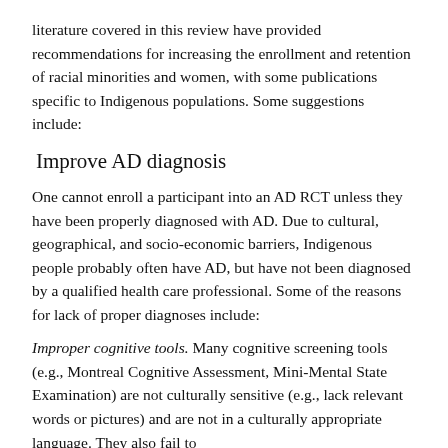literature covered in this review have provided recommendations for increasing the enrollment and retention of racial minorities and women, with some publications specific to Indigenous populations. Some suggestions include:
Improve AD diagnosis
One cannot enroll a participant into an AD RCT unless they have been properly diagnosed with AD. Due to cultural, geographical, and socio-economic barriers, Indigenous people probably often have AD, but have not been diagnosed by a qualified health care professional. Some of the reasons for lack of proper diagnoses include:
Improper cognitive tools. Many cognitive screening tools (e.g., Montreal Cognitive Assessment, Mini-Mental State Examination) are not culturally sensitive (e.g., lack relevant words or pictures) and are not in a culturally appropriate language. They also fail to